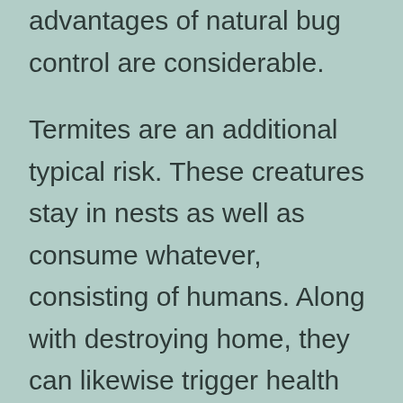advantages of natural bug control are considerable.
Termites are an additional typical risk. These creatures stay in nests as well as consume whatever, consisting of humans. Along with destroying home, they can likewise trigger health problems in people and also pets. Termites can damage homes and plants and are recognized to transmit conditions. They can also infect humans, which is why avoiding them is so vital. Not just are insects irritating, they can likewise cause diseases as well as interrupt your environment. So, if you want to